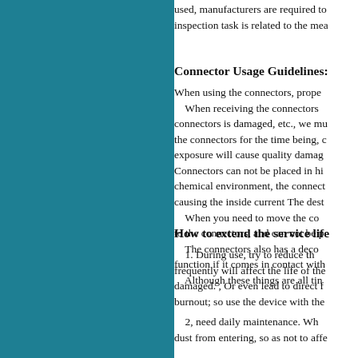used, manufacturers are required to... inspection task is related to the mea...
Connector Usage Guidelines:
When using the connectors, proper... When receiving the connectors... connectors is damaged, etc., we mu... the connectors for the time being, c... exposure will cause quality damage... Connectors can not be placed in hi... chemical environment, the connect... causing the inside current The dest... When you need to move the co... to the connectors, and can not be p... The connectors also has a decoy... function if it comes in contact with... Although these things are all tiny...
How to extend the service life
1. During use, try to reduce th... frequently will affect the life of the... damaged. , Or even lead to direct f... burnout; so use the device with the...
2, need daily maintenance. Wh... dust from entering, so as not to affe...